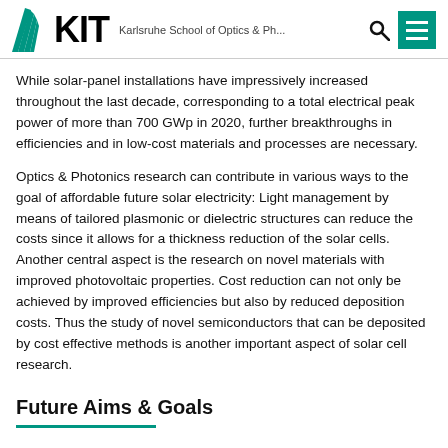KIT — Karlsruhe School of Optics & Ph...
While solar-panel installations have impressively increased throughout the last decade, corresponding to a total electrical peak power of more than 700 GWp in 2020, further breakthroughs in efficiencies and in low-cost materials and processes are necessary.
Optics & Photonics research can contribute in various ways to the goal of affordable future solar electricity: Light management by means of tailored plasmonic or dielectric structures can reduce the costs since it allows for a thickness reduction of the solar cells. Another central aspect is the research on novel materials with improved photovoltaic properties. Cost reduction can not only be achieved by improved efficiencies but also by reduced deposition costs. Thus the study of novel semiconductors that can be deposited by cost effective methods is another important aspect of solar cell research.
Future Aims & Goals